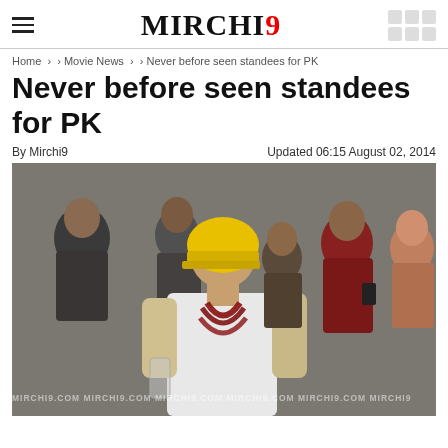MIRCHI9
Home > › Movie News > › Never before seen standees for PK
Never before seen standees for PK
By Mirchi9    Updated 06:15 August 02, 2014
[Figure (photo): Man wearing yellow helmet and red bead necklaces in white t-shirt, surrounded by crowd, with MIRCHI9.COM watermark repeated across bottom]